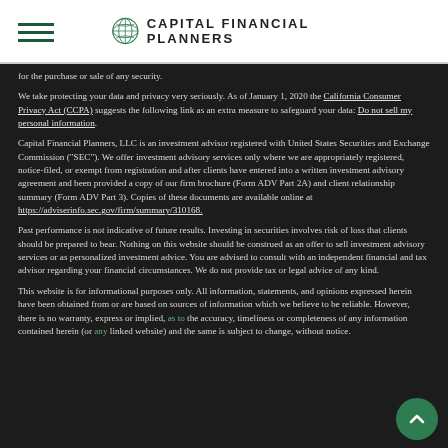CAPITAL FINANCIAL PLANNERS
for the purchase or sale of any security.
We take protecting your data and privacy very seriously. As of January 1, 2020 the California Consumer Privacy Act (CCPA) suggests the following link as an extra measure to safeguard your data: Do not sell my personal information.
Capital Financial Planners, LLC is an investment advisor registered with United States Securities and Exchange Commission ("SEC"). We offer investment advisory services only where we are appropriately registered, notice-filed, or exempt from registration and after clients have entered into a written investment advisory agreement and been provided a copy of our firm brochure (Form ADV Part 2A) and client relationship summary (Form ADV Part 3). Copies of these documents are available online at https://adviserinfo.sec.gov/firm/summary/310168.
Past performance is not indicative of future results. Investing in securities involves risk of loss that clients should be prepared to bear. Nothing on this website should be construed as an offer to sell investment advisory services or as personalized investment advice. You are advised to consult with an independent financial and tax advisor regarding your financial circumstances. We do not provide tax or legal advice of any kind.
This website is for informational purposes only. All information, statements, and opinions expressed herein have been obtained from or are based on sources of information which we believe to be reliable. However, there is no warranty, express or implied, as to the accuracy, timeliness or completeness of any information contained herein (or any linked website) and the same is subject to change, without notice.